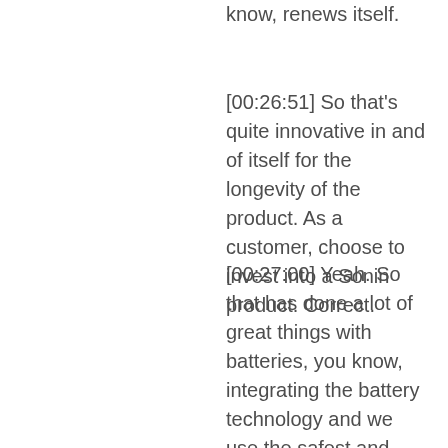know, renews itself.
[00:26:51] So that's quite innovative in and of itself for the longevity of the product. As a customer, choose to invest into a Sonin product. Correct.
[00:27:00] Yeah. So that has done a lot of great things with batteries, you know, integrating the battery technology and we use the safest and longest lasting lithium ion battery. So there's a lot of lithium out there types, different type of